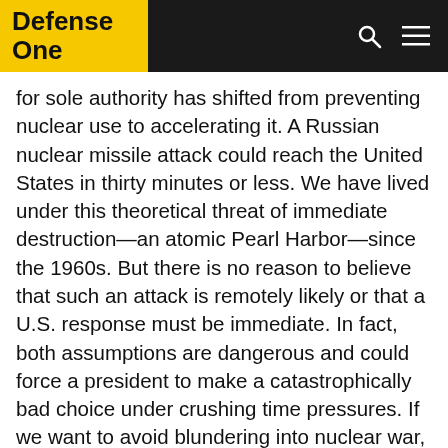Defense One
for sole authority has shifted from preventing nuclear use to accelerating it. A Russian nuclear missile attack could reach the United States in thirty minutes or less. We have lived under this theoretical threat of immediate destruction—an atomic Pearl Harbor—since the 1960s. But there is no reason to believe that such an attack is remotely likely or that a U.S. response must be immediate. In fact, both assumptions are dangerous and could force a president to make a catastrophically bad choice under crushing time pressures. If we want to avoid blundering into nuclear war, we need to give the president more time.
For example, U.S. land-based intercontinental ballistic missiles, or ICBMs, are highly vulnerable and, if not launched before a massive attack arrives, would likely be destroyed in their silos—but that does not justify